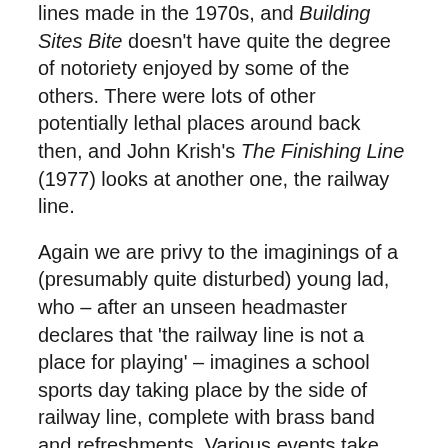lines made in the 1970s, and Building Sites Bite doesn't have quite the degree of notoriety enjoyed by some of the others. There were lots of other potentially lethal places around back then, and John Krish's The Finishing Line (1977) looks at another one, the railway line.

Again we are privy to the imaginings of a (presumably quite disturbed) young lad, who – after an unseen headmaster declares that 'the railway line is not a place for playing' – imagines a school sports day taking place by the side of railway line, complete with brass band and refreshments. Various events take place: Fence-breaking, Stone-throwing, Last One Across (the line, with a train oncoming), and the Great Tunnel Walk. Needless to say, all of these result in horrific injuries and death amongst the competitors, with an astonishing shot from near the end of the film depicting dozens of bloodied child corpses laid out